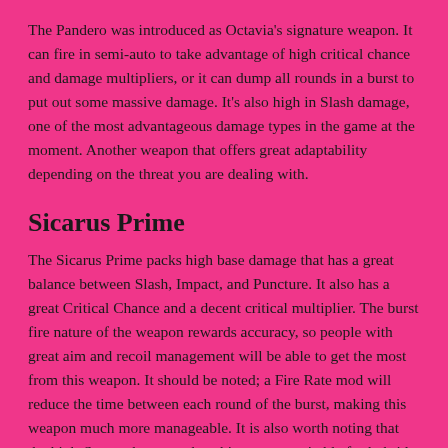The Pandero was introduced as Octavia's signature weapon. It can fire in semi-auto to take advantage of high critical chance and damage multipliers, or it can dump all rounds in a burst to put out some massive damage. It's also high in Slash damage, one of the most advantageous damage types in the game at the moment. Another weapon that offers great adaptability depending on the threat you are dealing with.
Sicarus Prime
The Sicarus Prime packs high base damage that has a great balance between Slash, Impact, and Puncture. It also has a great Critical Chance and a decent critical multiplier. The burst fire nature of the weapon rewards accuracy, so people with great aim and recoil management will be able to get the most from this weapon. It should be noted; a Fire Rate mod will reduce the time between each round of the burst, making this weapon much more manageable. It is also worth noting that the high-Status chance makes this weapon suitable for hybrid Crit/Status builds.